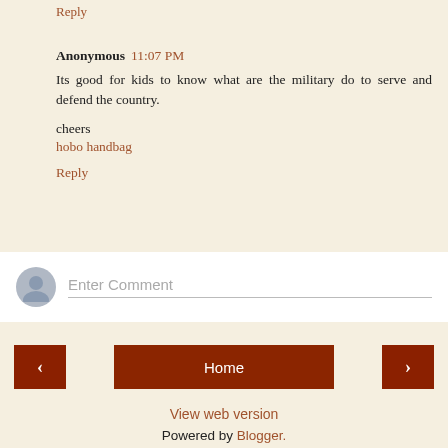Reply
Anonymous  11:07 PM
Its good for kids to know what are the military do to serve and defend the country.
cheers
hobo handbag
Reply
Enter Comment
Home
View web version
Powered by Blogger.